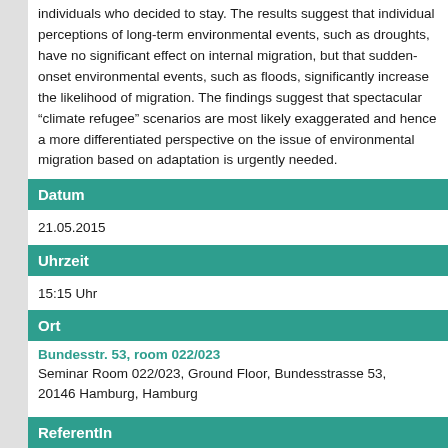individuals who decided to stay. The results suggest that individual perceptions of long-term environmental events, such as droughts, have no significant effect on internal migration, but that sudden-onset environmental events, such as floods, significantly increase the likelihood of migration. The findings suggest that spectacular “climate refugee” scenarios are most likely exaggerated and hence a more differentiated perspective on the issue of environmental migration based on adaptation is urgently needed.
Datum
21.05.2015
Uhrzeit
15:15 Uhr
Ort
Bundesstr. 53, room 022/023
Seminar Room 022/023, Ground Floor, Bundesstrasse 53, 20146 Hamburg, Hamburg
ReferentIn